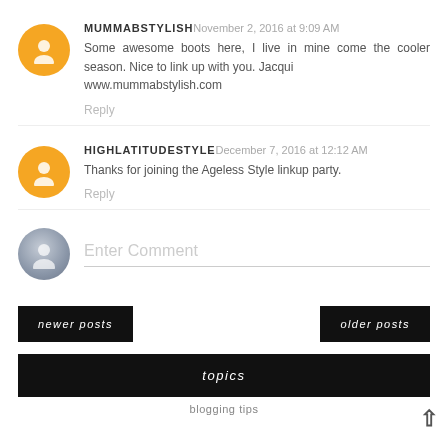MUMMABSTYLISH November 2, 2016 at 9:09 AM
Some awesome boots here, I live in mine come the cooler season. Nice to link up with you. Jacqui
www.mummabstylish.com
Reply
HIGHLATITUDESTYLE December 7, 2016 at 12:12 AM
Thanks for joining the Ageless Style linkup party.
Reply
Enter Comment
newer posts
older posts
topics
blogging tips